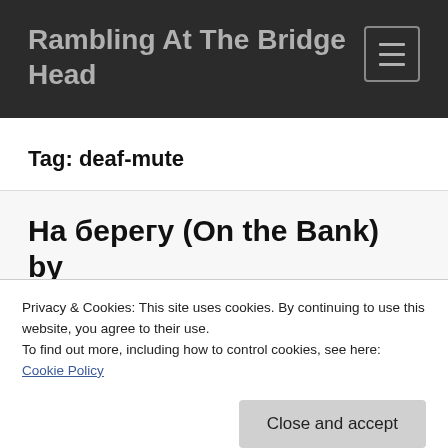Rambling At The Bridge Head
Tag: deaf-mute
На берегу (On the Bank) by Anton Turkov
Privacy & Cookies: This site uses cookies. By continuing to use this website, you agree to their use.
To find out more, including how to control cookies, see here: Cookie Policy
And it was quiet there, and in his soul